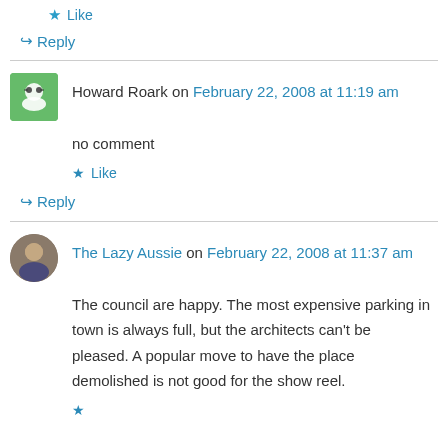★ Like
↳ Reply
Howard Roark on February 22, 2008 at 11:19 am
no comment
★ Like
↳ Reply
The Lazy Aussie on February 22, 2008 at 11:37 am
The council are happy. The most expensive parking in town is always full, but the architects can't be pleased. A popular move to have the place demolished is not good for the show reel.
★ Like